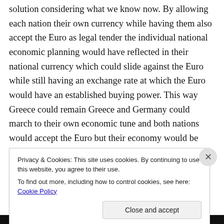solution considering what we know now. By allowing each nation their own currency while having them also accept the Euro as legal tender the individual national economic planning would have reflected in their national currency which could slide against the Euro while still having an exchange rate at which the Euro would have an established buying power. This way Greece could remain Greece and Germany could march to their own economic tune and both nations would accept the Euro but their economy would be reflected in the exchange rate which would be set in Brussels. That would provide each nation
Privacy & Cookies: This site uses cookies. By continuing to use this website, you agree to their use.
To find out more, including how to control cookies, see here: Cookie Policy
Close and accept